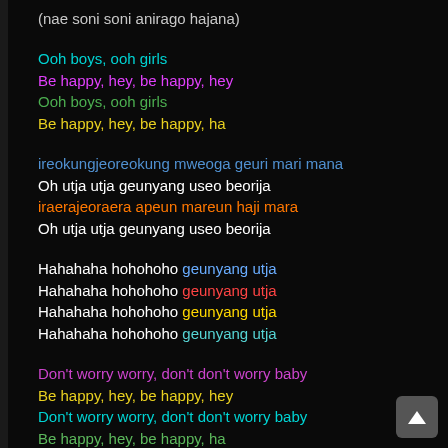(nae soni soni anirago hajana)
Ooh boys, ooh girls
Be happy, hey, be happy, hey
Ooh boys, ooh girls
Be happy, hey, be happy, ha
ireokungjeoreokung mweoga geuri mari mana
Oh utja utja geunyang useo beorija
iraerajeoraera apeun mareun haji mara
Oh utja utja geunyang useo beorija
Hahahaha hohohoho geunyang utja
Hahahaha hohohoho geunyang utja
Hahahaha hohohoho geunyang utja
Hahahaha hohohoho geunyang utja
Don't worry worry, don't don't worry baby
Be happy, hey, be happy, hey
Don't worry worry, don't don't worry baby
Be happy, hey, be happy, ha